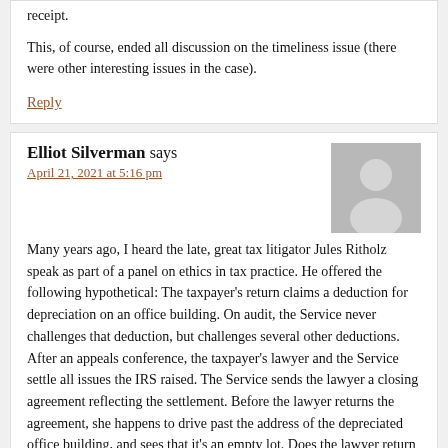receipt.
This, of course, ended all discussion on the timeliness issue (there were other interesting issues in the case).
Reply
Elliot Silverman says
April 21, 2021 at 5:16 pm
Many years ago, I heard the late, great tax litigator Jules Ritholz speak as part of a panel on ethics in tax practice. He offered the following hypothetical: The taxpayer's return claims a deduction for depreciation on an office building. On audit, the Service never challenges that deduction, but challenges several other deductions. After an appeals conference, the taxpayer's lawyer and the Service settle all issues the IRS raised. The Service sends the lawyer a closing agreement reflecting the settlement. Before the lawyer returns the agreement, she happens to drive past the address of the depreciated office building, and sees that it's an empty lot. Does the lawyer return the closing agreement?